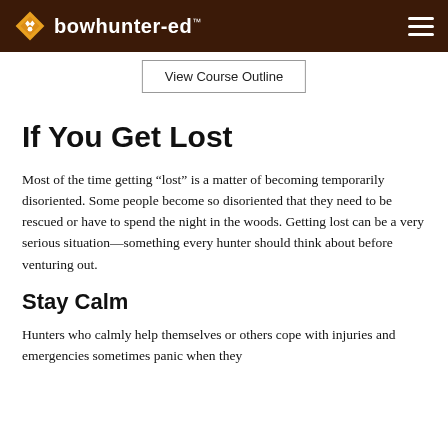bowhunter-ed™
View Course Outline
If You Get Lost
Most of the time getting “lost” is a matter of becoming temporarily disoriented. Some people become so disoriented that they need to be rescued or have to spend the night in the woods. Getting lost can be a very serious situation—something every hunter should think about before venturing out.
Stay Calm
Hunters who calmly help themselves or others cope with injuries and emergencies sometimes panic when they